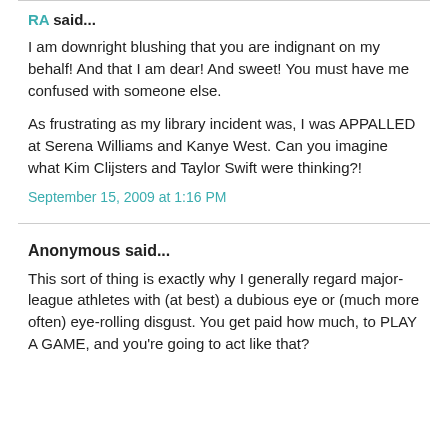RA said...
I am downright blushing that you are indignant on my behalf! And that I am dear! And sweet! You must have me confused with someone else.

As frustrating as my library incident was, I was APPALLED at Serena Williams and Kanye West. Can you imagine what Kim Clijsters and Taylor Swift were thinking?!
September 15, 2009 at 1:16 PM
Anonymous said...
This sort of thing is exactly why I generally regard major-league athletes with (at best) a dubious eye or (much more often) eye-rolling disgust. You get paid how much, to PLAY A GAME, and you're going to act like that?